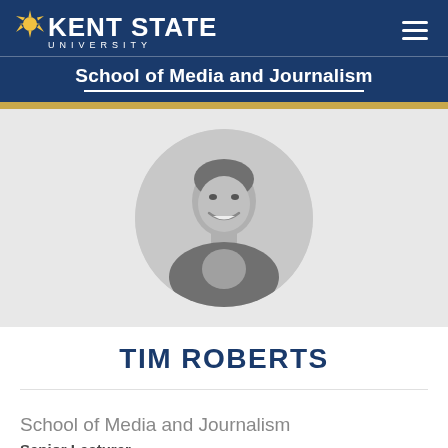[Figure (logo): Kent State University logo with sun icon and text on dark blue background]
School of Media and Journalism
[Figure (photo): Black and white circular headshot photo of Tim Roberts, smiling man in suit]
TIM ROBERTS
School of Media and Journalism
Senior Lecturer